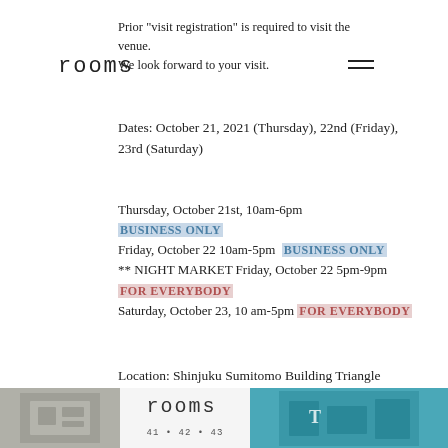[Figure (logo): rooms logo in monospace text, top left]
Prior "visit registration" is required to visit the venue.
We look forward to your visit.
Dates: October 21, 2021 (Thursday), 22nd (Friday), 23rd (Saturday)
Thursday, October 21st, 10am-6pm BUSINESS ONLY
Friday, October 22 10am-5pm BUSINESS ONLY
** NIGHT MARKET Friday, October 22 5pm-9pm FOR EVERYBODY
Saturday, October 23, 10 am-5pm FOR EVERYBODY
Location: Shinjuku Sumitomo Building Triangle Square
[Figure (photo): Bottom strip with three images: left gray photo, center rooms logo on white, right teal/blue photo]